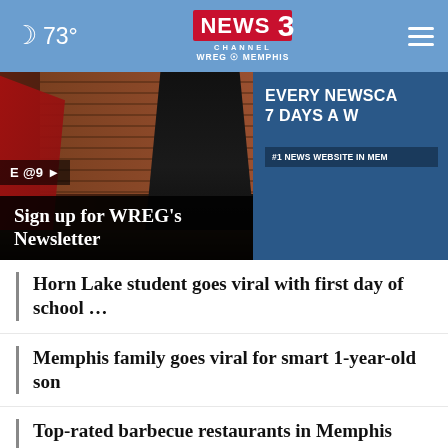🌙 73° | NEWS3 CHANNEL WREG MEMPHIS
[Figure (screenshot): TV news broadcast screenshot showing studio anchors, with overlay text 'EVERY NEWSCA 7 DAYS A W' and '#1 NEWS WEBSITE IN MEM' badge on the right side, and 'E@9>' badge on the left]
Sign up for WREG's Newsletter
Horn Lake student goes viral with first day of school …
Memphis family goes viral for smart 1-year-old son
Top-rated barbecue restaurants in Memphis
Here's why your MLGW bill is so high